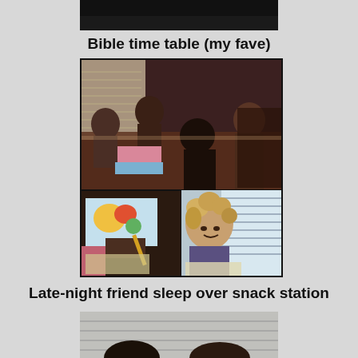[Figure (photo): Partial top photo, dark background, cropped at top of page]
Bible time table (my fave)
[Figure (photo): Collage of three photos: top shows children sitting around a table doing Bible activities; bottom-left shows a child holding an open colorful book; bottom-right shows a curly-haired child smiling near a window]
Late-night friend sleep over snack station
[Figure (photo): Partial bottom photo showing tops of children's heads, black and white or low color]